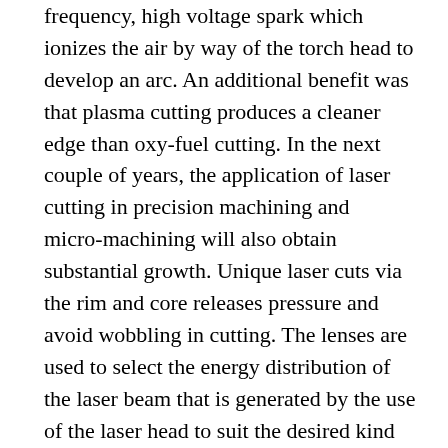frequency, high voltage spark which ionizes the air by way of the torch head to develop an arc. An additional benefit was that plasma cutting produces a cleaner edge than oxy-fuel cutting. In the next couple of years, the application of laser cutting in precision machining and micro-machining will also obtain substantial growth. Unique laser cuts via the rim and core releases pressure and avoid wobbling in cutting. The lenses are used to select the energy distribution of the laser beam that is generated by the use of the laser head to suit the desired kind of the machining. Even so, red laser alignment has just created the most perfect utilization of great monocles, great coherence, good path and higher brightness. This alignment laser assures long lifetime and up to 85% laser beam stability within